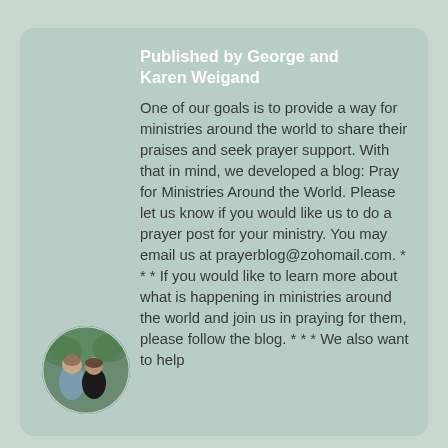Published by George and Karen Weigand
One of our goals is to provide a way for ministries around the world to share their praises and seek prayer support. With that in mind, we developed a blog: Pray for Ministries Around the World. Please let us know if you would like us to do a prayer post for your ministry. You may email us at prayerblog@zohomail.com. * * * If you would like to learn more about what is happening in ministries around the world and join us in praying for them, please follow the blog. * * * We also want to help
[Figure (photo): Circular photo of George and Karen Weigand, a couple, outdoors with greenery in the background.]